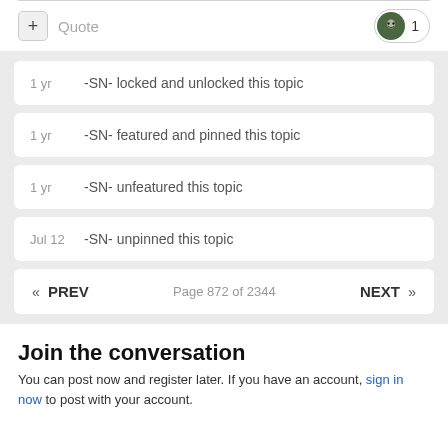+ Quote  1
1 yr   -SN- locked and unlocked this topic
1 yr   -SN- featured and pinned this topic
1 yr   -SN- unfeatured this topic
Jul 12   -SN- unpinned this topic
« PREV   Page 872 of 2344   NEXT »
Join the conversation
You can post now and register later. If you have an account, sign in now to post with your account.